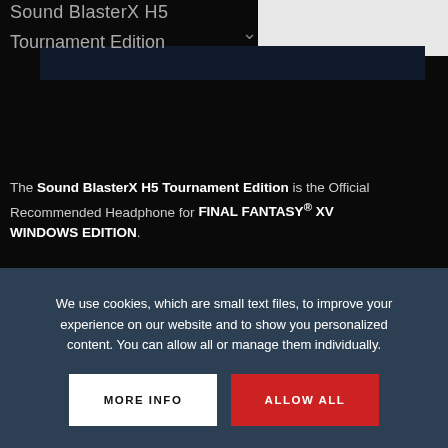Sound BlasterX H5
Tournament Edition
The Sound BlasterX H5 Tournament Edition is the Official Recommended Headphone for FINAL FANTASY® XV WINDOWS EDITION.
We use cookies, which are small text files, to improve your experience on our website and to show you personalized content. You can allow all or manage them individually.
MORE INFO
ALLOW ALL